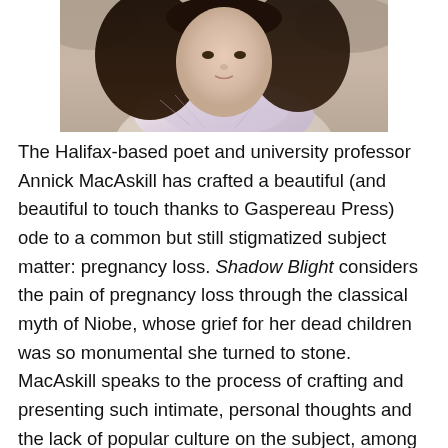[Figure (photo): Portrait photo of a woman (Annick MacAskill) with dark hair, wearing a light scarf and jacket, photographed outdoors in an autumn/winter setting.]
The Halifax-based poet and university professor Annick MacAskill has crafted a beautiful (and beautiful to touch thanks to Gaspereau Press) ode to a common but still stigmatized subject matter: pregnancy loss. Shadow Blight considers the pain of pregnancy loss through the classical myth of Niobe, whose grief for her dead children was so monumental she turned to stone. MacAskill speaks to the process of crafting and presenting such intimate, personal thoughts and the lack of popular culture on the subject, among other things. Plus a song from the new Klarka Weinwurm album.
Listen to the episode here.